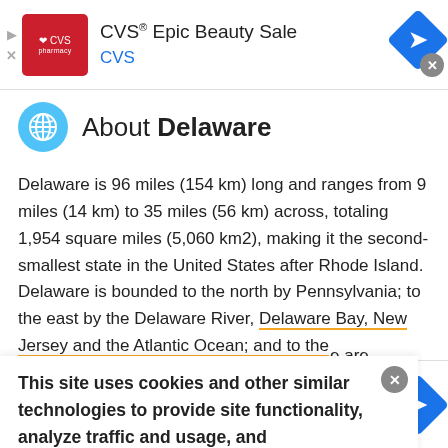[Figure (screenshot): CVS pharmacy ad banner at top: CVS logo (red background), text 'CVS® Epic Beauty Sale' and 'CVS', navigation arrow icon in blue diamond, close button]
About Delaware
Delaware is 96 miles (154 km) long and ranges from 9 miles (14 km) to 35 miles (56 km) across, totaling 1,954 square miles (5,060 km2), making it the second-smallest state in the United States after Rhode Island. Delaware is bounded to the north by Pennsylvania; to the east by the Delaware River, Delaware Bay, New Jersey and the Atlantic Ocean; and to the
e are
This site uses cookies and other similar technologies to provide site functionality, analyze traffic and usage, and
[Figure (screenshot): Lidl Groceries Are Low-Priced ad banner at bottom: Lidl logo, text 'Lidl Groceries Are Low-Priced' and 'Lidl', navigation arrow icon in blue diamond]